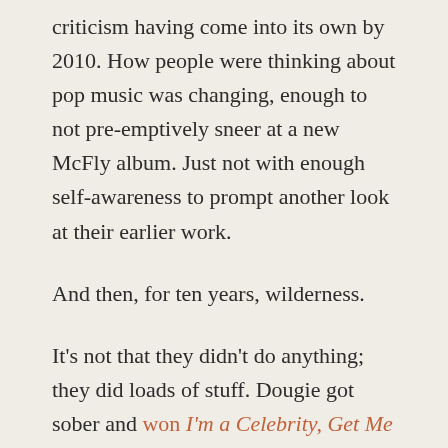criticism having come into its own by 2010. How people were thinking about pop music was changing, enough to not pre-emptively sneer at a new McFly album. Just not with enough self-awareness to prompt another look at their earlier work.
And then, for ten years, wilderness.
It's not that they didn't do anything; they did loads of stuff. Dougie got sober and won I'm a Celebrity, Get Me Out of Here. Harry won Strictly Come Dancing and when the McFly boys stormed the stage Bruce Forsyth yelled at them. They did